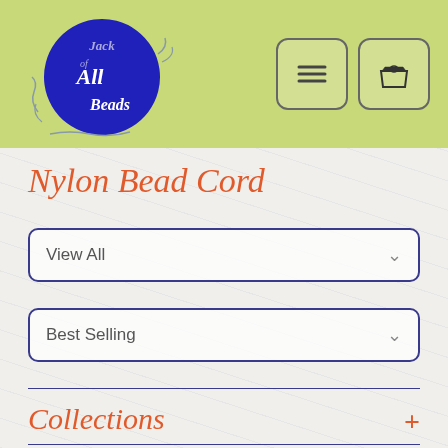[Figure (logo): Jack of All Beads logo — blue oval with decorative script text reading 'Jack of All Beads' in white/silver on a blue background, with decorative swirls]
Nylon Bead Cord
View All
Best Selling
Collections